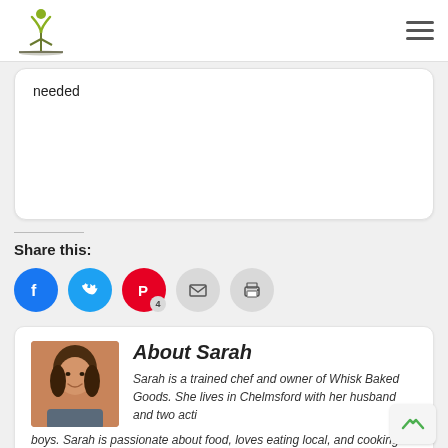Logo and navigation header
needed
Share this:
[Figure (infographic): Social share buttons: Facebook, Twitter, Pinterest (4), Email, Print]
[Figure (photo): Photo of Sarah - a woman with dark hair, smiling]
About Sarah
Sarah is a trained chef and owner of Whisk Baked Goods. She lives in Chelmsford with her husband and two active boys. Sarah is passionate about food, loves eating local, and cooking gluten free foods.